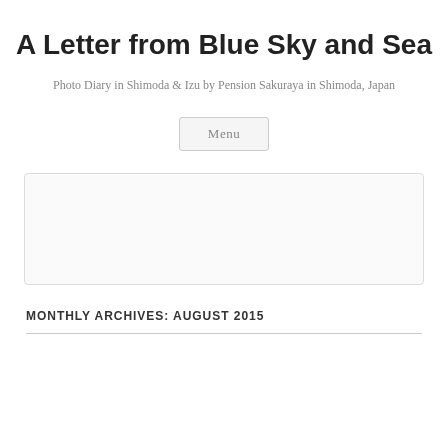A Letter from Blue Sky and Sea
Photo Diary in Shimoda & Izu by Pension Sakuraya in Shimoda, Japan
Menu
[Figure (other): Empty white/light gray content box with border and rounded corners]
MONTHLY ARCHIVES: AUGUST 2015